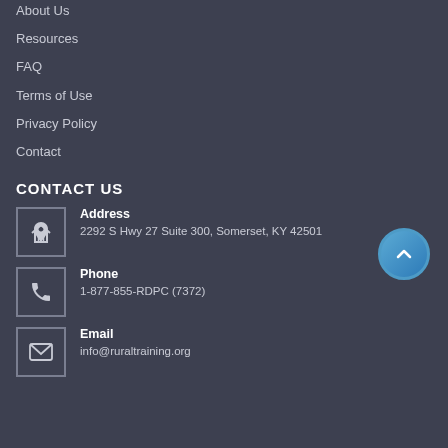About Us
Resources
FAQ
Terms of Use
Privacy Policy
Contact
CONTACT US
Address
2292 S Hwy 27 Suite 300, Somerset, KY 42501
Phone
1-877-855-RDPC (7372)
Email
info@ruraltraining.org